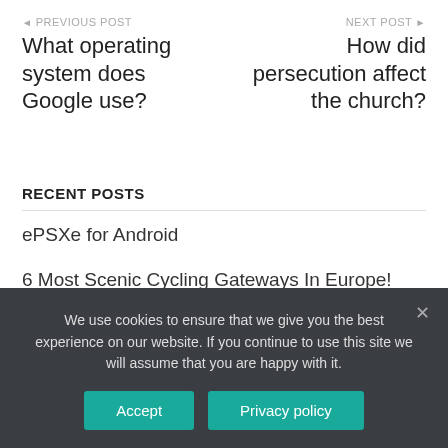◄ PREVIOUS POST
What operating system does Google use?
NEXT POST ►
How did persecution affect the church?
RECENT POSTS
ePSXe for Android
6 Most Scenic Cycling Gateways In Europe!
Benefits of wearing Blue light blocking glasses
Why Should You Disable Windows Defender?
We use cookies to ensure that we give you the best experience on our website. If you continue to use this site we will assume that you are happy with it.
Accept | Privacy policy